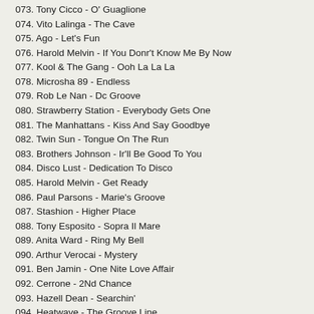073. Tony Cicco - O' Guaglione
074. Vito Lalinga - The Cave
075. Ago - Let's Fun
076. Harold Melvin - If You Donr't Know Me By Now
077. Kool & The Gang - Ooh La La La
078. Microsha 89 - Endless
079. Rob Le Nan - Dc Groove
080. Strawberry Station - Everybody Gets One
081. The Manhattans - Kiss And Say Goodbye
082. Twin Sun - Tongue On The Run
083. Brothers Johnson - Ir'll Be Good To You
084. Disco Lust - Dedication To Disco
085. Harold Melvin - Get Ready
086. Paul Parsons - Marie's Groove
087. Stashion - Higher Place
088. Tony Esposito - Sopra Il Mare
089. Anita Ward - Ring My Bell
090. Arthur Verocai - Mystery
091. Ben Jamin - One Nite Love Affair
092. Cerrone - 2Nd Chance
093. Hazell Dean - Searchin'
094. Heatwave - The Groove Line
095. Kenny Lynch - Half The Dayr's Gone
096. Sally Shapiro - Down This Road
097. Smib - Rise Up
098. Tony Black - Put Your Dancin' Shoes On
099. Humphrey Robertson - Save The World
100. Edwin Starr - Contact
101. Elincу - Stay Strong